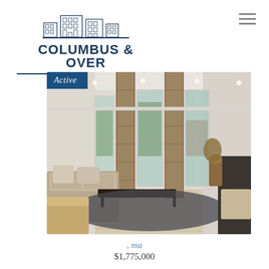[Figure (logo): Columbus & Over Group logo with building illustration and horizontal rules]
[Figure (photo): Interior living room photo of a modern condo/townhouse with high ceilings, large windows, stone columns, hardwood floors, and contemporary furniture. Has an 'Active' badge overlay in the top-left corner.]
, ma
$1,775,000